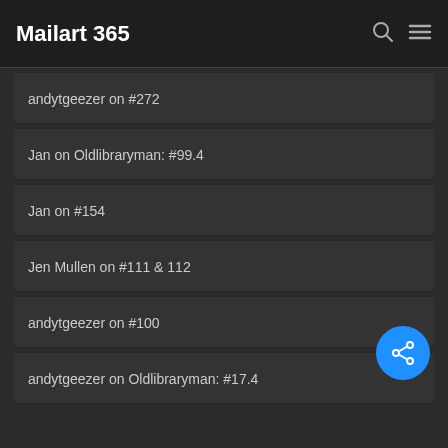Mailart 365
andytgeezer on #272
Jan on Oldlibraryman: #99.4
Jan on #154
Jen Mullen on #111 & 112
andytgeezer on #100
andytgeezer on Oldlibraryman: #17.4